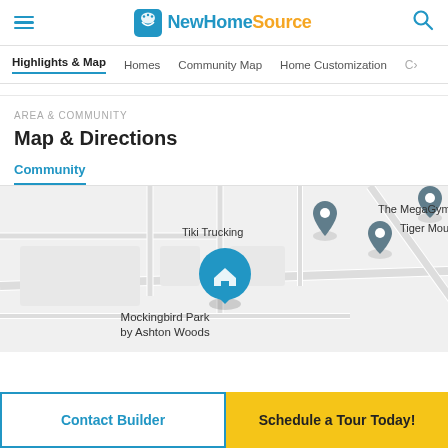NewHomeSource
Highlights & Map | Homes | Community Map | Home Customization | C >
AREA & COMMUNITY
Map & Directions
Community
[Figure (map): Community map showing Mockingbird Park by Ashton Woods location with nearby places: Tiki Trucking, The MegaGym, Tiger Mountain, along N Bagdad road]
Contact Builder
Schedule a Tour Today!